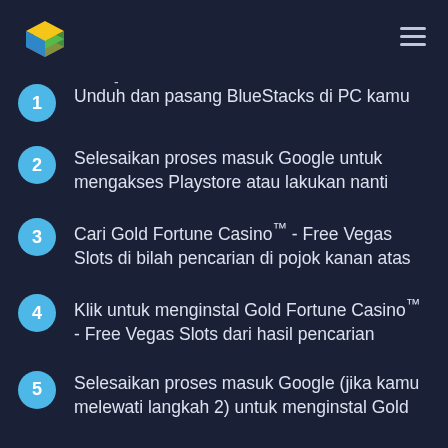[Figure (logo): BlueStacks colorful layered diamond/polygon logo]
Unduh dan pasang BlueStacks di PC kamu
Selesaikan proses masuk Google untuk mengakses Playstore atau lakukan nanti
Cari Gold Fortune Casino™ - Free Vegas Slots di bilah pencarian di pojok kanan atas
Klik untuk menginstal Gold Fortune Casino™ - Free Vegas Slots dari hasil pencarian
Selesaikan proses masuk Google (jika kamu melewati langkah 2) untuk menginstal Gold Fortune Casino™ - Free Vegas Slots